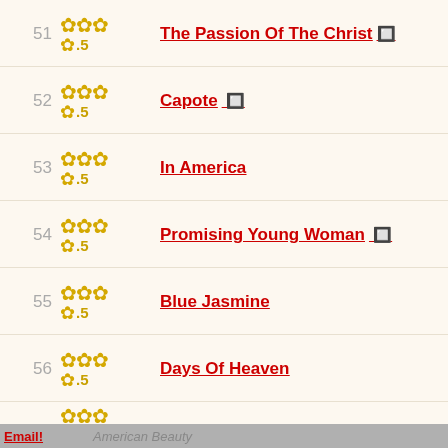51 ★★★.5 The Passion Of The Christ
52 ★★★.5 Capote
53 ★★★.5 In America
54 ★★★.5 Promising Young Woman
55 ★★★.5 Blue Jasmine
56 ★★★.5 Days Of Heaven
57 ★★★ American Beauty
Email!  American Beauty